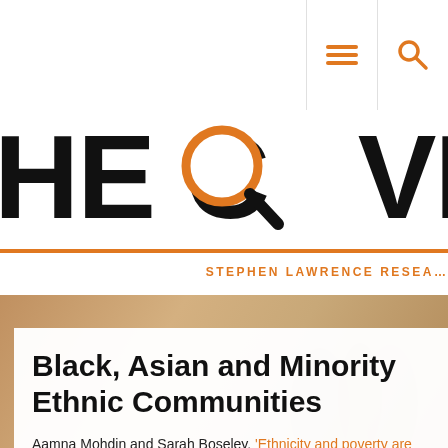Navigation header with menu and search icons
[Figure (logo): The Covid Files logo with magnifying glass replacing the O in COVID, and subtitle STEPHEN LAWRENCE RESEARCH]
[Figure (photo): Background photo of people in muted warm tones]
Black, Asian and Minority Ethnic Communities
Aamna Mohdin and Sarah Boseley, 'Ethnicity and poverty are Covid risk factors, new Oxford